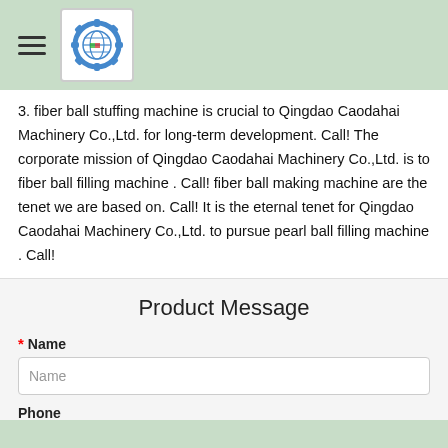[Figure (logo): Qingdao Caodahai Machinery Co.,Ltd. logo with gear icon and globe]
3. fiber ball stuffing machine is crucial to Qingdao Caodahai Machinery Co.,Ltd. for long-term development. Call! The corporate mission of Qingdao Caodahai Machinery Co.,Ltd. is to fiber ball filling machine . Call! fiber ball making machine are the tenet we are based on. Call! It is the eternal tenet for Qingdao Caodahai Machinery Co.,Ltd. to pursue pearl ball filling machine . Call!
Product Message
* Name
Name
Phone
Phone
Chat Online